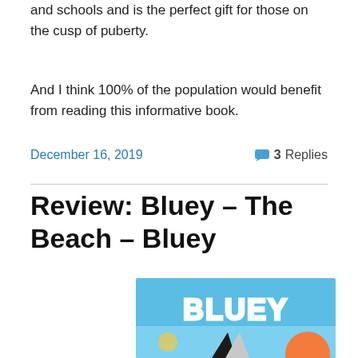and schools and is the perfect gift for those on the cusp of puberty.
And I think 100% of the population would benefit from reading this informative book.
December 16, 2019   3 Replies
Review: Bluey – The Beach – Bluey
[Figure (photo): Book cover for Bluey – The Beach, showing the Bluey cartoon logo in white bubble letters on a light blue background with cartoon characters below]